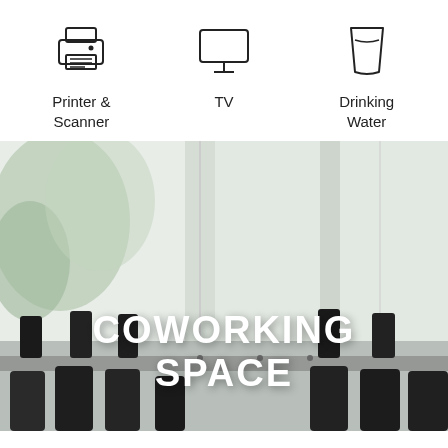[Figure (illustration): Icon of a printer and scanner]
Printer &
Scanner
[Figure (illustration): Icon of a TV / monitor]
TV
[Figure (illustration): Icon of a drinking water cup]
Drinking
Water
[Figure (photo): Photo of a coworking space with long table, black chairs, and large windows with greenery outside. Bold white text overlay reads 'COWORKING SPACE'.]